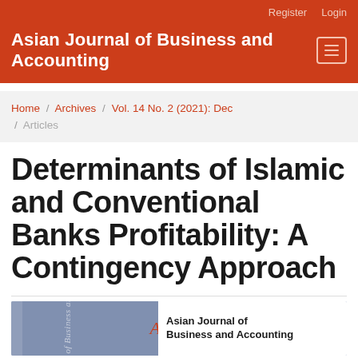Asian Journal of Business and Accounting
Home / Archives / Vol. 14 No. 2 (2021): Dec / Articles
Determinants of Islamic and Conventional Banks Profitability: A Contingency Approach
[Figure (logo): Asian Journal of Business and Accounting journal cover image showing AJBA logo on blue/purple background with white right panel containing journal name]